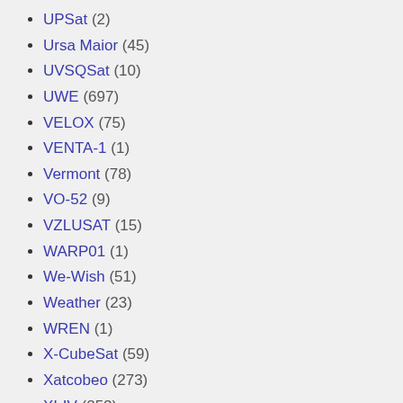UPSat (2)
Ursa Maior (45)
UVSQSat (10)
UWE (697)
VELOX (75)
VENTA-1 (1)
Vermont (78)
VO-52 (9)
VZLUSAT (15)
WARP01 (1)
We-Wish (51)
Weather (23)
WREN (1)
X-CubeSat (59)
Xatcobeo (273)
XI-IV (252)
XI-V (173)
XW-2 (337)
XW-3 (2)
YUSAT (1)
Z-SAT (1)